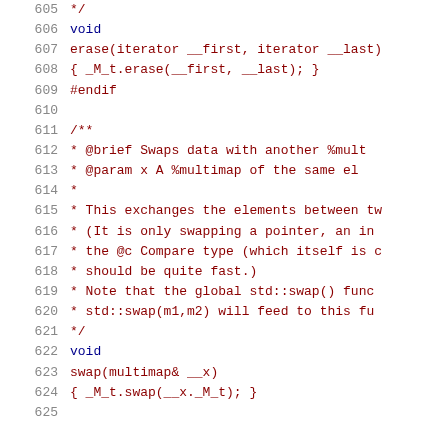Code listing lines 605-625 showing C++ multimap erase and swap member function implementations with Doxygen comments
605         */
606         void
607         erase(iterator __first, iterator __last)
608         { _M_t.erase(__first, __last); }
609   #endif
610
611         /**
612          *  @brief  Swaps data with another %mult
613          *  @param  x  A %multimap of the same el
614          *
615          *  This exchanges the elements between tw
616          *  (It is only swapping a pointer, an in
617          *  the @c Compare type (which itself is c
618          *  should be quite fast.)
619          *  Note that the global std::swap() func
620          *  std::swap(m1,m2) will feed to this fu
621          */
622         void
623         swap(multimap& __x)
624         { _M_t.swap(__x._M_t); }
625